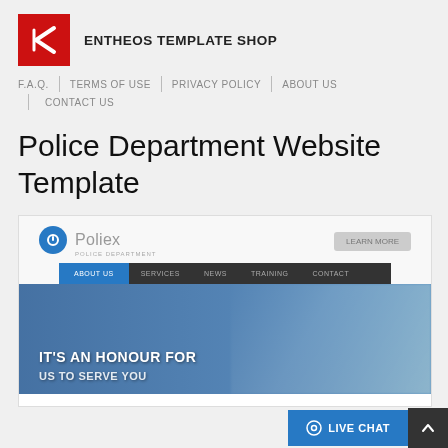[Figure (logo): Entheos Template Shop logo: red square with white S-like shape, followed by bold text ENTHEOS TEMPLATE SHOP]
F.A.Q. | TERMS OF USE | PRIVACY POLICY | ABOUT US | CONTACT US
Police Department Website Template
[Figure (screenshot): Screenshot of Police Department Website Template showing Poliex police department site with blue circle logo, navigation bar with About Us highlighted in blue, and hero image showing police officers with text IT'S AN HONOUR FOR US TO SERVE YOU]
[Figure (other): Live Chat button (blue) and up-arrow button (dark) in bottom right corner]